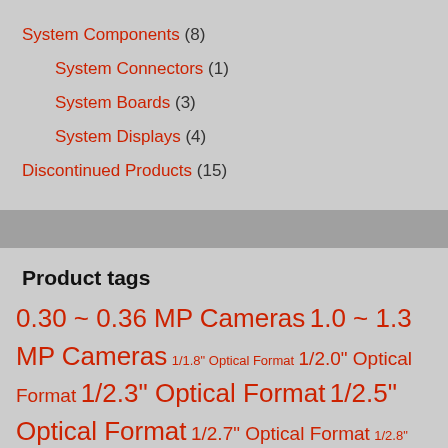System Components (8)
System Connectors (1)
System Boards (3)
System Displays (4)
Discontinued Products (15)
Product tags
0.30 ~ 0.36 MP Cameras 1.0 ~ 1.3 MP Cameras 1/1.8" Optical Format 1/2.0" Optical Format 1/2.3" Optical Format 1/2.5" Optical Format 1/2.7" Optical Format 1/2.8" Optical Format 1/3.0" Optical Format 1/3.2" Optical